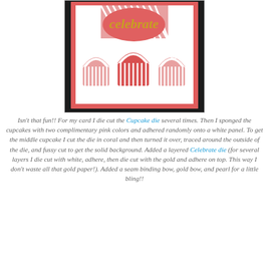[Figure (photo): A handmade greeting card featuring cupcake die cuts with coral/pink striped pattern on a white panel with a coral border. Gold 'celebrate' script die cut is placed across the cupcakes. The card sits on a dark background.]
Isn't that fun!! For my card I die cut the Cupcake die several times. Then I sponged the cupcakes with two complimentary pink colors and adhered randomly onto a white panel. To get the middle cupcake I cut the die in coral and then turned it over, traced around the outside of the die, and fussy cut to get the solid background. Added a layered Celebrate die (for several layers I die cut with white, adhere, then die cut with the gold and adhere on top. This way I don't waste all that gold paper!). Added a seam binding bow, gold bow, and pearl for a little bling!!